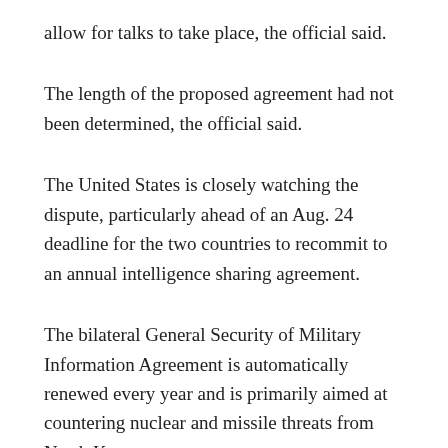allow for talks to take place, the official said.
The length of the proposed agreement had not been determined, the official said.
The United States is closely watching the dispute, particularly ahead of an Aug. 24 deadline for the two countries to recommit to an annual intelligence sharing agreement.
The bilateral General Security of Military Information Agreement is automatically renewed every year and is primarily aimed at countering nuclear and missile threats from North Korea.